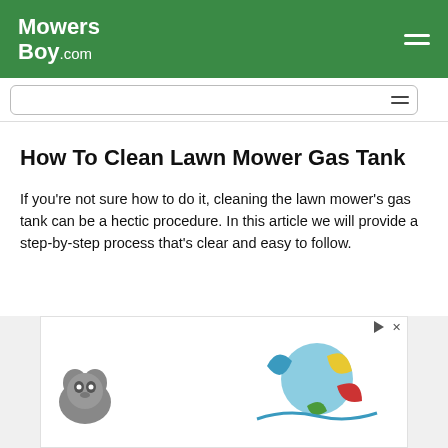MowersBoy.com
How To Clean Lawn Mower Gas Tank
If you're not sure how to do it, cleaning the lawn mower's gas tank can be a hectic procedure. In this article we will provide a step-by-step process that's clear and easy to follow.
[Figure (other): Advertisement banner with raccoon illustration and colorful leaf graphics]